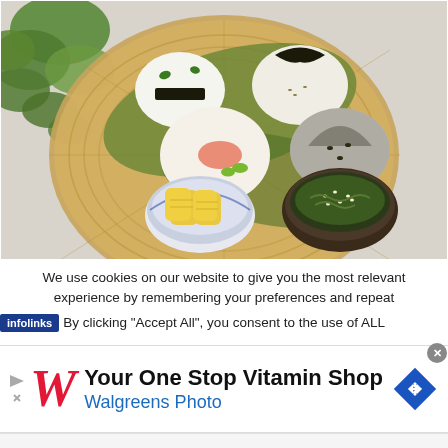[Figure (photo): Japanese onigiri (rice balls) arranged on a round wicker tray with green leaves, accompanied by small side dishes of seasoned seaweed and tamagoyaki (Japanese omelette). Green plant visible in background on a light gray surface.]
We use cookies on our website to give you the most relevant experience by remembering your preferences and repeat By clicking “Accept All”, you consent to the use of ALL
[Figure (infographic): Walgreens advertisement banner: 'Your One Stop Vitamin Shop' with Walgreens Photo branding, red italic W logo, play/close icons, and blue diamond navigation badge.]